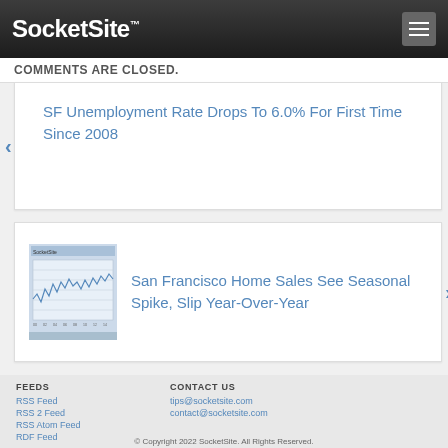SocketSite™
COMMENTS ARE CLOSED.
SF Unemployment Rate Drops To 6.0% For First Time Since 2008
[Figure (other): Thumbnail chart image of home sales data — line chart]
San Francisco Home Sales See Seasonal Spike, Slip Year-Over-Year
FEEDS
RSS Feed
RSS 2 Feed
RSS Atom Feed
RDF Feed
CONTACT US
tips@socketsite.com
contact@socketsite.com
© Copyright 2022 SocketSite. All Rights Reserved.